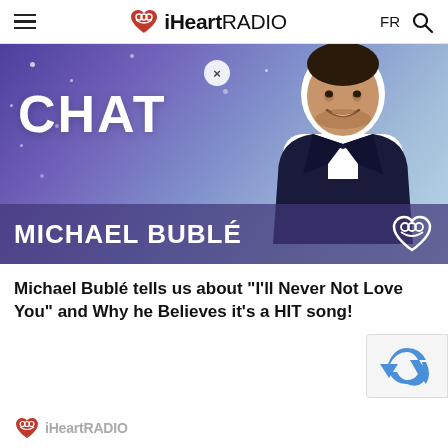iHeartRADIO — FR
[Figure (photo): Promotional image for iHeartRadio Chat featuring Michael Bublé. Purple-blue gradient background with sparkle effects. Large white bold text 'CHAT' on left side. Michael Bublé smiling in a dark blazer with white outline cutout on right. Bottom bar with semi-transparent purple background showing 'MICHAEL BUBLÉ' in large white text and iHeart logo on right. Small X close button visible near top center.]
Michael Bublé tells us about "I'll Never Not Love You" and Why he Believes it's a HIT song!
[Figure (logo): reCAPTCHA logo (partial, bottom right corner)]
[Figure (logo): iHeartRADIO footer logo (partial, bottom left)]